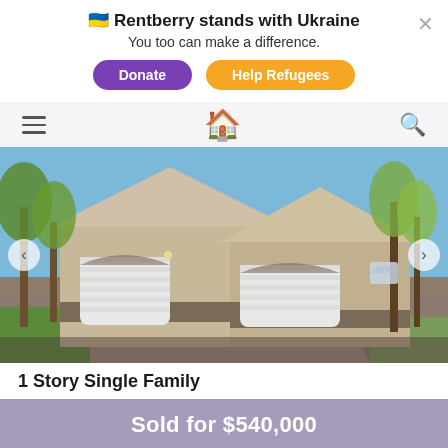🇺🇦 Rentberry stands with Ukraine
You too can make a difference.
[Donate] [Help Refugees]
[Figure (screenshot): Rentberry website navigation bar with hamburger menu, house logo icon, and search icon on a light gray background]
[Figure (photo): Exterior photo of a tan/beige stucco single-family home with three garage doors, surrounded by trees, blue sky in background]
1 Story Single Family
Sold for $540,000